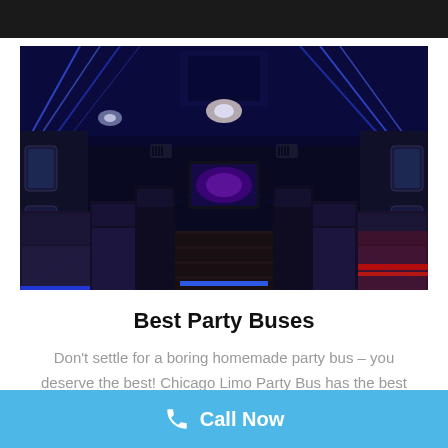[Figure (photo): Interior of a luxury party bus showing long bench seating on both sides, blue LED strip lighting along the ceiling and floor, a flat-screen TV at the far end, hardwood-style floor, and red accent lighting on the right side. The ceiling has light streaks from the blue LEDs, and the bus appears spacious and modern.]
Best Party Buses
Don't settle for a boring homemade party bus – you deserve the best! Chicago Limo Party Bus has the best
Call Now